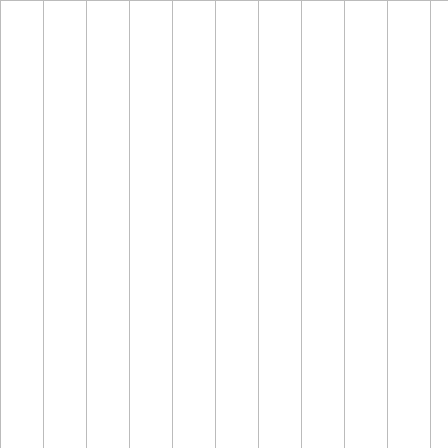| ... | UCAR/NCAR - EarthObservingLab | final 3.0
2016-07-27 |